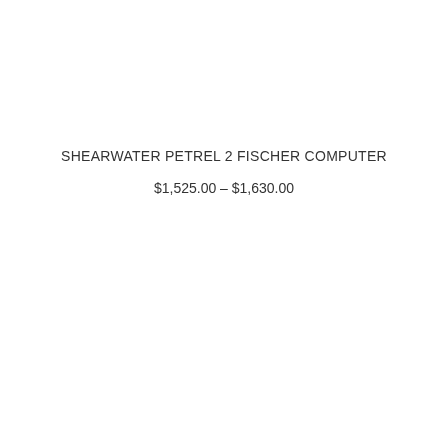SHEARWATER PETREL 2 FISCHER COMPUTER
$1,525.00 – $1,630.00